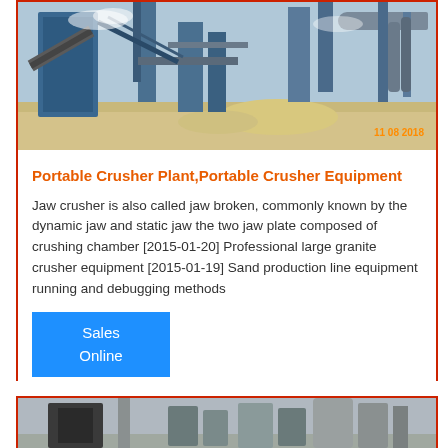[Figure (photo): Industrial crusher plant facility with blue metal structures, conveyor belts, pipes, and sandy ground. Timestamp '11 08 2018' in orange at bottom right.]
Portable Crusher Plant,Portable Crusher Equipment
Jaw crusher is also called jaw broken, commonly known by the dynamic jaw and static jaw the two jaw plate composed of crushing chamber [2015-01-20] Professional large granite crusher equipment [2015-01-19] Sand production line equipment running and debugging methods
Sales Online
[Figure (photo): Partial view of another industrial crusher plant, showing gray machinery and equipment structures.]